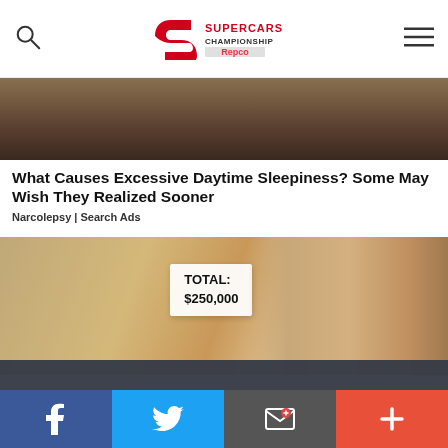Supercars Championship Repco
[Figure (photo): Cropped photo showing dark brown background, partial image of what appears to be leather or fabric]
What Causes Excessive Daytime Sleepiness? Some May Wish They Realized Sooner
Narcolepsy | Search Ads
[Figure (photo): Photo of a woman holding up a notebook showing TOTAL: $250,000]
We use cookies to ensure we give you the best experience on our website. If you continue to use this site, you agree to the terms and conditions identified in our privacy policy
OK   Privacy policy
[Figure (screenshot): Advertisement banner showing MCA logo with Dine-in and Curbside pickup checkmarks and navigation arrow icon]
Facebook  Twitter  Message  Plus social share buttons